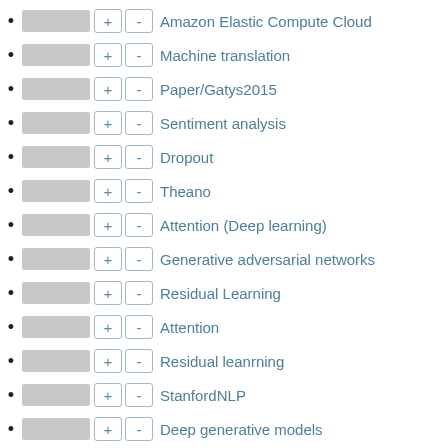Amazon Elastic Compute Cloud
Machine translation
Paper/Gatys2015
Sentiment analysis
Dropout
Theano
Attention (Deep learning)
Generative adversarial networks
Residual Learning
Attention
Residual leanrning
StanfordNLP
Deep generative models